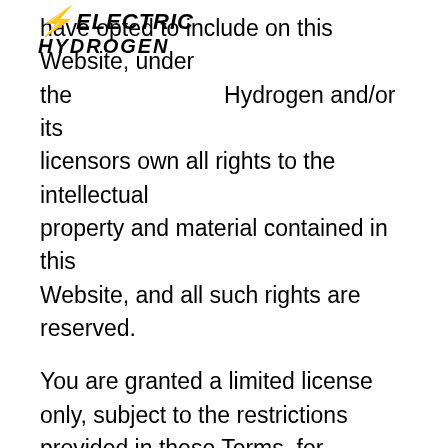[Figure (logo): Electric Hydrogen company logo with lightning bolt and italic bold text 'ELECTRIC HYDROGEN']
have opted to include on this Website, under the terms of Electric Hydrogen and/or its licensors own all rights to the intellectual property and material contained in this Website, and all such rights are reserved.
You are granted a limited license only, subject to the restrictions provided in these Terms, for purposes of viewing the material contained on this Website,
3. Restrictions
You are expressly and emphatically restricted from all of the following: